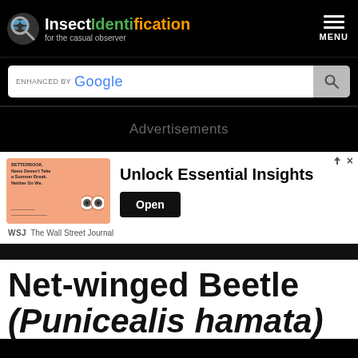InsectIdentification for the casual observer
[Figure (screenshot): InsectIdentification website header with logo, Google search bar, advertisement banner for Wall Street Journal 'Unlock Essential Insights', and article title 'Net-winged Beetle (Punicealis hamata)']